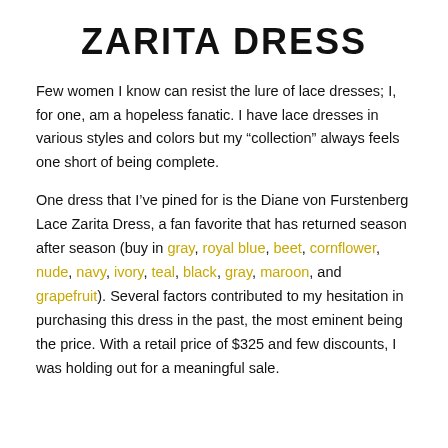ZARITA DRESS
Few women I know can resist the lure of lace dresses; I, for one, am a hopeless fanatic. I have lace dresses in various styles and colors but my “collection” always feels one short of being complete.
One dress that I’ve pined for is the Diane von Furstenberg Lace Zarita Dress, a fan favorite that has returned season after season (buy in gray, royal blue, beet, cornflower, nude, navy, ivory, teal, black, gray, maroon, and grapefruit). Several factors contributed to my hesitation in purchasing this dress in the past, the most eminent being the price. With a retail price of $325 and few discounts, I was holding out for a meaningful sale.